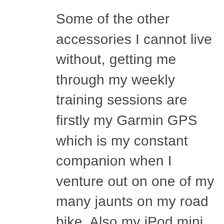Some of the other accessories I cannot live without, getting me through my weekly training sessions are firstly my Garmin GPS which is my constant companion when I venture out on one of my many jaunts on my road bike. Also my iPod mini, playing an amazing selection of dance and electro tunes motivates me on my solo road runs. After a lot of trial and error (usually combined with an onslaught of expletives pouring out of me when another pair of earphones end up in the bin) the only ones I use now are the Phillips Sport collection. They actually stay in my ears for my whole run and another plus is their choice of dayglo colour schemes mean they will never again be lost at the bottom of my